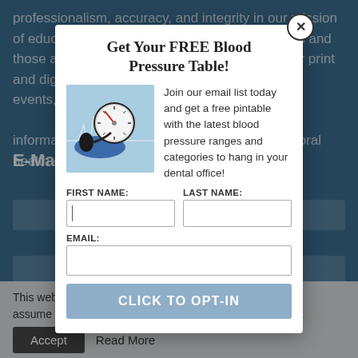professionalism, accuracy, and integrity in our mission of education supporting oral health professionals and those allied with the dental industry. Through our print and digital media pla— —nd events, we informatio of oral health ca
E-Mail N
[Figure (screenshot): Background website page with blue background showing dental/medical publication content, with email signup fields partially visible]
Get Your FREE Blood Pressure Table!
[Figure (photo): Photo of a blood pressure sphygmomanometer gauge on a blue background with ECG lines]
Join our email list today and get a free pintable with the latest blood pressure ranges and categories to hang in your dental office!
FIRST NAME:
LAST NAME:
EMAIL:
CLICK TO OPT-IN
This webs ence. We'll assume you're ok with this, but you can opt-out if you wish.
Accept
Read More